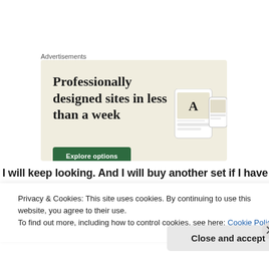Advertisements
[Figure (screenshot): Advertisement banner with beige background showing text 'Professionally designed sites in less than a week' with a green 'Explore options' button and device mockup images on the right.]
I will keep looking. And I will buy another set if I have to
Privacy & Cookies: This site uses cookies. By continuing to use this website, you agree to their use.
To find out more, including how to control cookies, see here: Cookie Policy
Close and accept